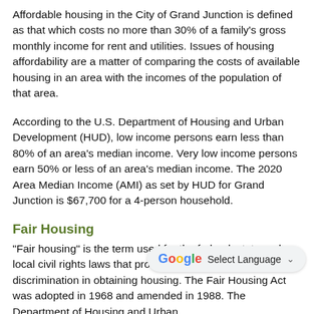Affordable housing in the City of Grand Junction is defined as that which costs no more than 30% of a family's gross monthly income for rent and utilities. Issues of housing affordability are a matter of comparing the costs of available housing in an area with the incomes of the population of that area.
According to the U.S. Department of Housing and Urban Development (HUD), low income persons earn less than 80% of an area's median income. Very low income persons earn 50% or less of an area's median income. The 2020 Area Median Income (AMI) as set by HUD for Grand Junction is $67,700 for a 4-person household.
Fair Housing
"Fair housing" is the term used for the federal, state and local civil rights laws that protect all of us from discrimination in obtaining housing. The Fair Housing Act was adopted in 1968 and amended in 1988. The Department of Housing and Urban